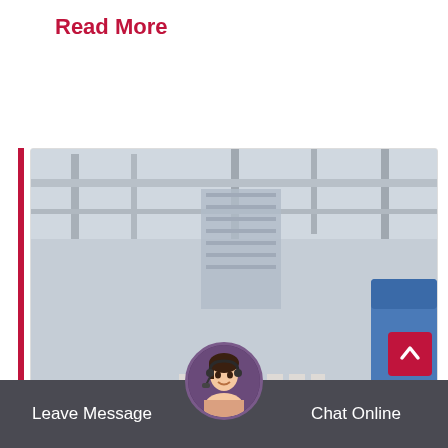Read More
[Figure (photo): Industrial cone crusher machines (3 units) in a manufacturing facility/warehouse. Machines are white with orange hydraulic cylinders and red/black flywheel pulleys, mounted on black steel frames, in a large open industrial building.]
Leave Message   Chat Online